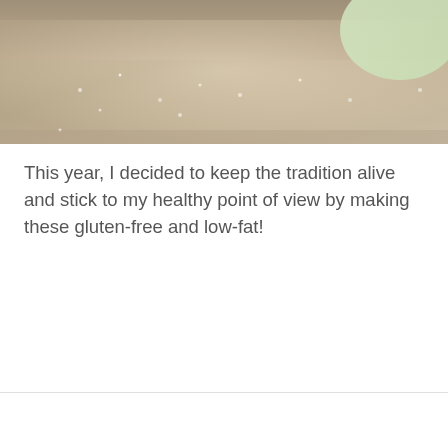[Figure (photo): Close-up photo of food item, appearing to be a dough or baked good dusted with flour or sugar, with a light green element visible in the upper right corner. Photo is cropped and shows the top portion of the item.]
This year, I decided to keep the tradition alive and stick to my healthy point of view by making these gluten-free and low-fat!